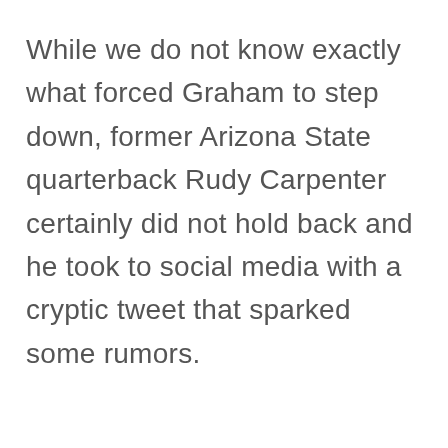While we do not know exactly what forced Graham to step down, former Arizona State quarterback Rudy Carpenter certainly did not hold back and he took to social media with a cryptic tweet that sparked some rumors.